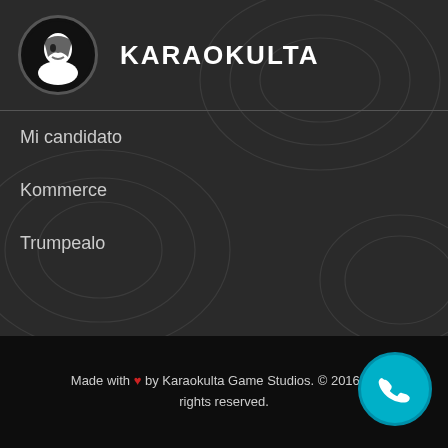[Figure (logo): Karaokulta app logo: circular black icon with a white stylized face silhouette, beside the bold white text KARAOKULTA]
Mi candidato
Kommerce
Trumpealo
Made with ♥ by Karaokulta Game Studios. © 2016 All rights reserved.